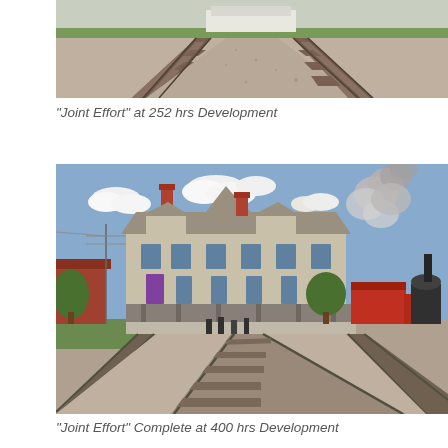[Figure (photo): Painting of railroad tracks converging to a vanishing point, gravel ballast, with a building visible in the background. In-progress painting at 252 hours development.]
“Joint Effort” at 252 hrs Development
[Figure (photo): Completed painting of a historic railway station with a steam locomotive and red freight cars on the right, figures on the platform, and clouds in a blue sky. Completed at 400 hours development.]
“Joint Effort” Complete at 400 hrs Development